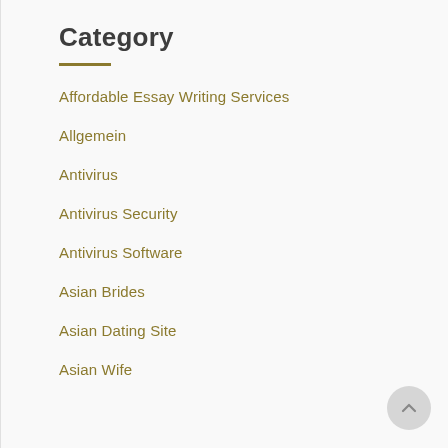Category
Affordable Essay Writing Services
Allgemein
Antivirus
Antivirus Security
Antivirus Software
Asian Brides
Asian Dating Site
Asian Wife